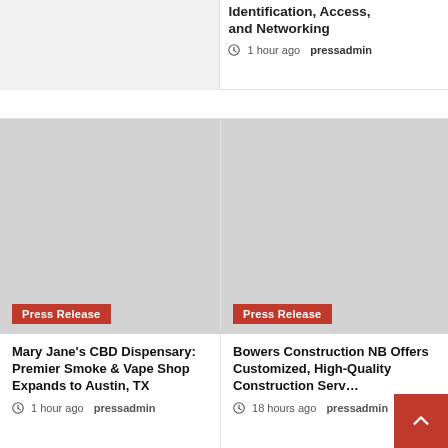[Figure (photo): Gray placeholder image in top-left card (partial, cut off)]
Identification, Access, and Networking
1 hour ago  pressadmin
[Figure (photo): Gray placeholder image for Mary Jane's CBD Dispensary article with Press Release badge]
Mary Jane's CBD Dispensary: Premier Smoke & Vape Shop Expands to Austin, TX
1 hour ago  pressadmin
[Figure (photo): Gray placeholder image for Bowers Construction NB article with Press Release badge]
Bowers Construction NB Offers Customized, High-Quality Construction Serv…
18 hours ago  pressadmin